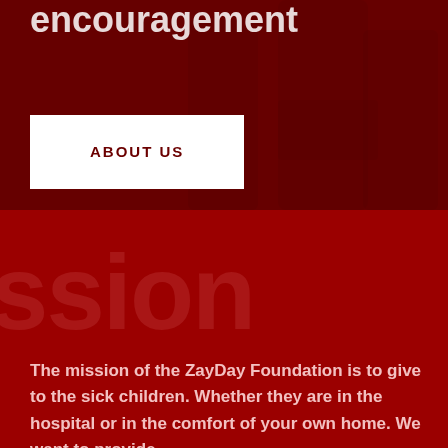encouragement
ABOUT US
ssion
The mission of the ZayDay Foundation is to give to the sick children. Whether they are in the hospital or in the comfort of your own home. We want to provide